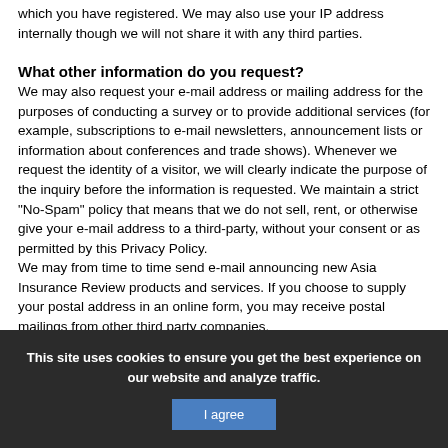which you have registered. We may also use your IP address internally though we will not share it with any third parties.
What other information do you request?
We may also request your e-mail address or mailing address for the purposes of conducting a survey or to provide additional services (for example, subscriptions to e-mail newsletters, announcement lists or information about conferences and trade shows). Whenever we request the identity of a visitor, we will clearly indicate the purpose of the inquiry before the information is requested. We maintain a strict "No-Spam" policy that means that we do not sell, rent, or otherwise give your e-mail address to a third-party, without your consent or as permitted by this Privacy Policy.
We may from time to time send e-mail announcing new Asia Insurance Review products and services. If you choose to supply your postal address in an online form, you may receive postal mailings from other third party companies.
When you register for a contest or other promotion, we may
This site uses cookies to ensure you get the best experience on our website and analyze traffic.
I agree